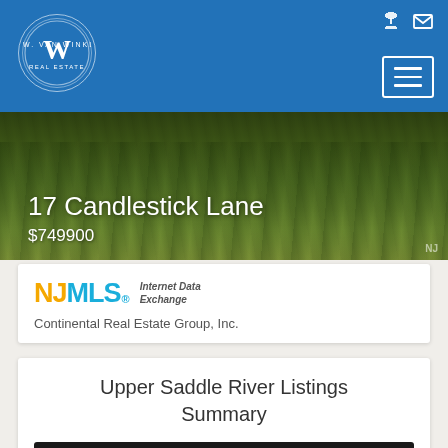[Figure (logo): A.W. Van Winkle & Co. circular logo with stylized W, displayed in header]
[Figure (photo): Green grassy lawn/landscape background image for property listing at 17 Candlestick Lane]
17 Candlestick Lane
$749900
[Figure (logo): NJMLS Internet Data Exchange logo]
Continental Real Estate Group, Inc.
Upper Saddle River Listings Summary
Total: 141